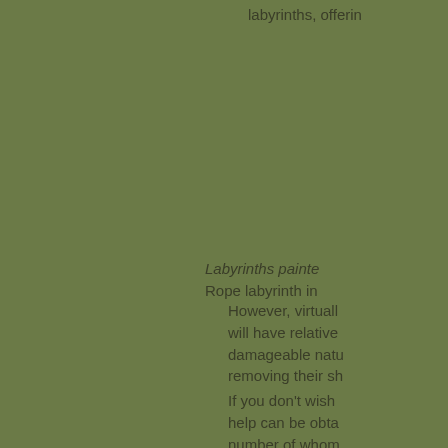labyrinths, offerin
Labyrinths painte
Rope labyrinth in
However, virtuall
will have relative
damageable natu
removing their sh
If you don't wish 
help can be obta
number of whom